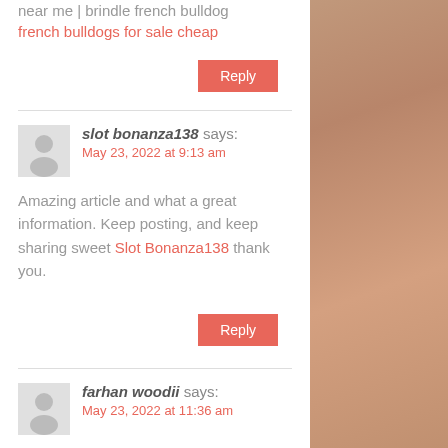near me | brindle french bulldog
french bulldogs for sale cheap
Reply
slot bonanza138 says:
May 23, 2022 at 9:13 am
Amazing article and what a great information. Keep posting, and keep sharing sweet Slot Bonanza138 thank you.
Reply
farhan woodii says:
May 23, 2022 at 11:36 am